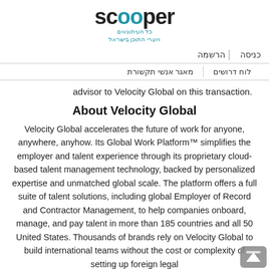scooper כל העיתונאים ויוצרי התוכן בישראל
הרשמה | כניסה
מאגר אנשי תקשורת | לוח דרושים
advisor to Velocity Global on this transaction.
About Velocity Global
Velocity Global accelerates the future of work for anyone, anywhere, anyhow. Its Global Work Platform™ simplifies the employer and talent experience through its proprietary cloud-based talent management technology, backed by personalized expertise and unmatched global scale. The platform offers a full suite of talent solutions, including global Employer of Record and Contractor Management, to help companies onboard, manage, and pay talent in more than 185 countries and all 50 United States. Thousands of brands rely on Velocity Global to build international teams without the cost or complexity of setting up foreign legal